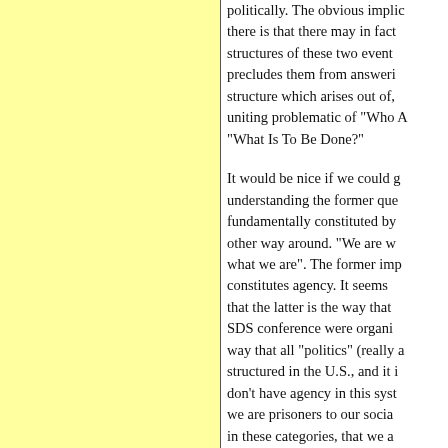politically. The obvious implication there is that there may in fact structures of these two events precludes them from answering structure which arises out of, uniting problematic of "Who A" "What Is To Be Done?"
It would be nice if we could g understanding the former que fundamentally constituted by other way around. "We are w what we are". The former imp constitutes agency. It seems that the latter is the way that SDS conference were organi way that all "politics" (really a structured in the U.S., and it don't have agency in this sys we are prisoners to our socia in these categories, that we a structure while taking up the s myths of those who were reb